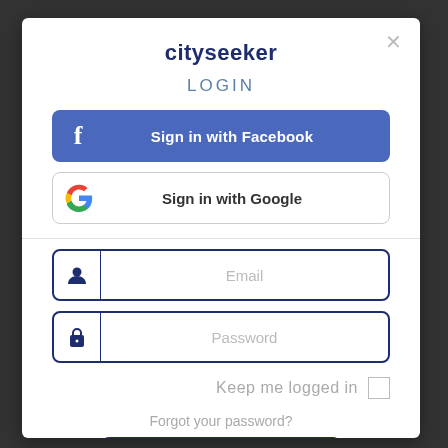cityseeker
LOGIN
[Figure (screenshot): Sign in with Facebook button - blue rounded button with Facebook f icon on left and 'Sign in with Facebook' text]
[Figure (screenshot): Sign in with Google button - white rounded button with Google G logo on left and 'Sign in with Google' text]
Email
Password
Keep me logged in
Forgot your password?
Login